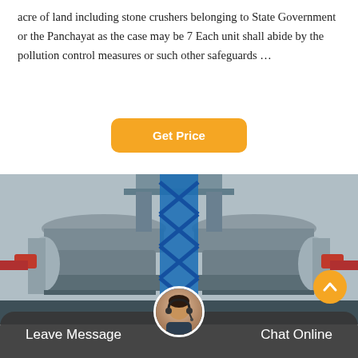acre of land including stone crushers belonging to State Government or the Panchayat as the case may be 7 Each unit shall abide by the pollution control measures or such other safeguards …
[Figure (other): Button labeled 'Get Price' with orange/amber background and white bold text, rounded rectangle shape]
[Figure (photo): Industrial facility photograph showing large stone crusher machines with blue steel tower/elevator structure in the center, multiple crusher units visible on left and right sides, overhead structure at top, industrial pipes and walkways visible]
[Figure (other): Website UI footer bar with dark semi-transparent background, 'Leave Message' text on left, customer support avatar in center, 'Chat Online' text on right, orange scroll-to-top button on lower right]